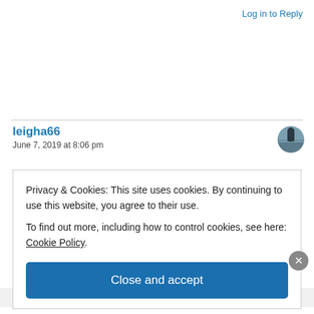Log in to Reply
leigha66
June 7, 2019 at 8:06 pm
[Figure (photo): User avatar thumbnail, circular, showing a person silhouetted against a winter/sky scene]
Privacy & Cookies: This site uses cookies. By continuing to use this website, you agree to their use. To find out more, including how to control cookies, see here: Cookie Policy
Close and accept
Build a better web and a better world.